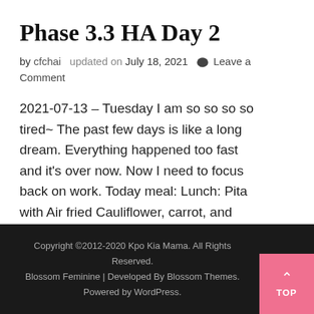Phase 3.3 HA Day 2
by cfchai   updated on July 18, 2021  💬 Leave a Comment
2021-07-13 – Tuesday I am so so so so tired~ The past few days is like a long dream. Everything happened too fast and it's over now. Now I need to focus back on work. Today meal: Lunch: Pita with Air fried Cauliflower, carrot, and eggs This is the first …
Copyright ©2012-2020 Kpo Kia Mama. All Rights Reserved. Blossom Feminine | Developed By Blossom Themes. Powered by WordPress.